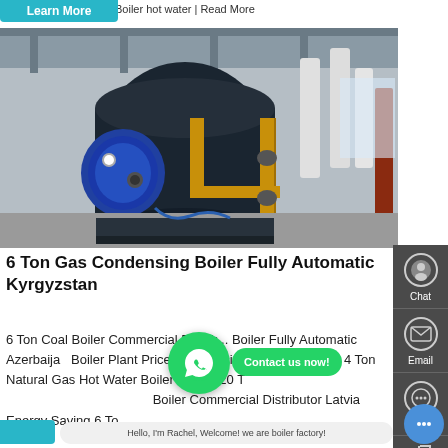Learn More   Boiler hot water | Read More
[Figure (photo): Industrial gas condensing boiler in a factory setting with yellow gas pipes and blue electrical connections]
6 Ton Gas Condensing Boiler Fully Automatic Kyrgyzstan
6 Ton Coal Boiler Commercial Pakistan 6 Ton Gas Condensing Boiler Fully Automatic Azerbaijan Boiler Plant Price High Efficiency Latvia Dealer 4 Ton Natural Gas Hot Water Boiler Dealer 20 Ton Diesel Condensing Boiler Fully Automatic 10 Boiler Commercial Distributor Latvia Energy Saving 6 Ton A